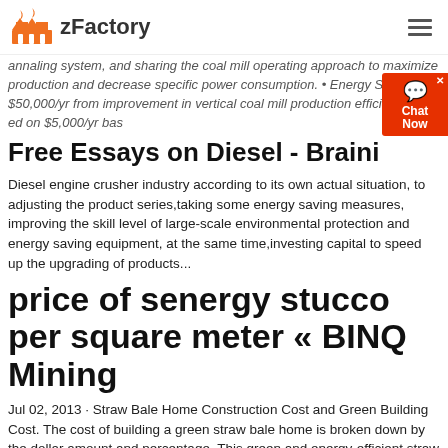zFactory
annaling system, and sharing the coal mill operating approach to maximize production and decrease specific power consumption. • Energy Savings $50,000/yr from improvement in vertical coal mill production efficiency and ed on $5,000/yr bas
Free Essays on Diesel - Braini
Diesel engine crusher industry according to its own actual situation, to adjusting the product series,taking some energy saving measures, improving the skill level of large-scale environmental protection and energy saving equipment, at the same time,investing capital to speed up the upgrading of products...
price of senergy stucco per square meter « BINQ Mining
Jul 02, 2013 · Straw Bale Home Construction Cost and Green Building Cost. The cost of building a green straw bale home is broken down by the dollar amount and percentage. This green and energy-efficient straw bale